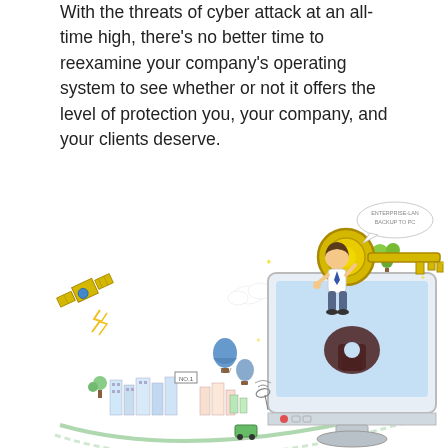With the threats of cyber attack at an all-time high, there's no better time to reexamine your company's operating system to see whether or not it offers the level of protection you, your company, and your clients deserve.
[Figure (illustration): Colorful illustration showing a person sitting on top of a computer monitor that displays a padlock/keyhole icon. The person holds a large golden key. Surrounding elements include a satellite, city skyline, hot air balloons, clouds, a rainbow, green trees, and a speech bubble.]